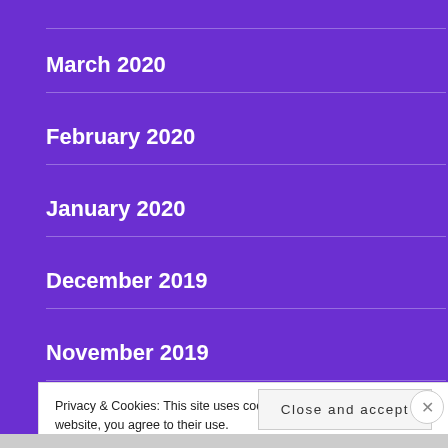March 2020
February 2020
January 2020
December 2019
November 2019
Privacy & Cookies: This site uses cookies. By continuing to use this website, you agree to their use.
To find out more, including how to control cookies, see here: Cookie Policy
Close and accept